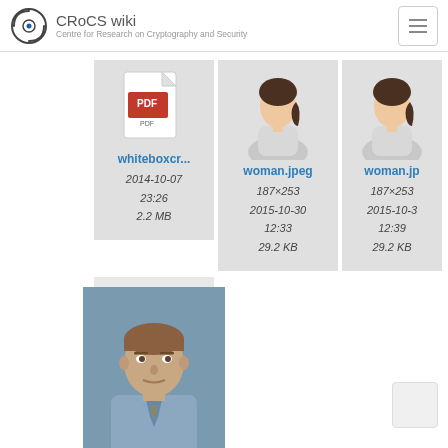CRoCS wiki — Centre for Research on Cryptography and Security
[Figure (screenshot): File thumbnail card: PDF icon for whiteboxcr... file, dated 2014-10-07 23:26, size 2.2 MB]
[Figure (screenshot): File thumbnail card: woman.jpeg, 187×253, 2015-10-30 12:33, 29.2 KB]
[Figure (screenshot): File thumbnail card: woman.jp... (partially visible), 187×253, 2015-10-3... 12:39, 29.2 KB]
[Figure (photo): Photo of a man (zriha.jpg), 159×193, 2014-11-11]
zriha.jpg
159×193
2014-11-11